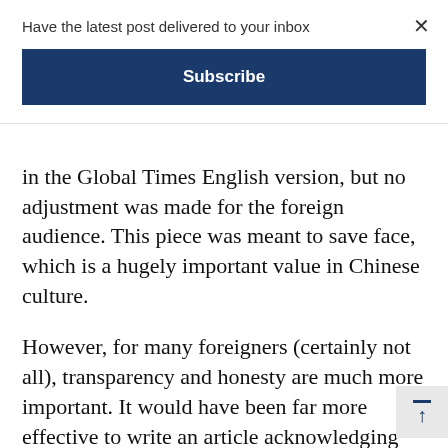Have the latest post delivered to your inbox
Subscribe
in the Global Times English version, but no adjustment was made for the foreign audience. This piece was meant to save face, which is a hugely important value in Chinese culture.
However, for many foreigners (certainly not all), transparency and honesty are much more important. It would have been far more effective to write an article acknowledging the problem, and explaining what concrete steps were being taken to improve the situation. Instead, for some unknown reason, editors at Global Times thought that their foreign audience would